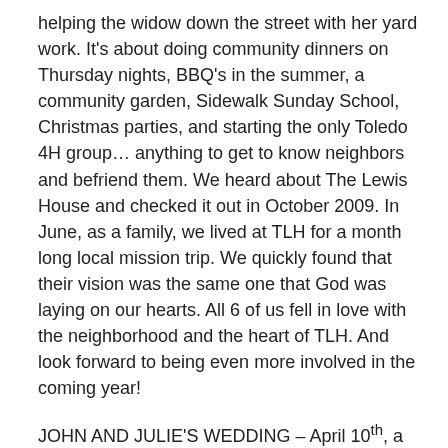helping the widow down the street with her yard work. It's about doing community dinners on Thursday nights, BBQ's in the summer, a community garden, Sidewalk Sunday School, Christmas parties, and starting the only Toledo 4H group… anything to get to know neighbors and befriend them. We heard about The Lewis House and checked it out in October 2009. In June, as a family, we lived at TLH for a month long local mission trip. We quickly found that their vision was the same one that God was laying on our hearts. All 6 of us fell in love with the neighborhood and the heart of TLH. And look forward to being even more involved in the coming year!
JOHN AND JULIE'S WEDDING – April 10th, a beautiful day in Minnesota, we were able to attend the wedding of John (Sam's oldest) and his lovely bride, Julie. It was wonderful to officially welcome Julie into the Grider family...